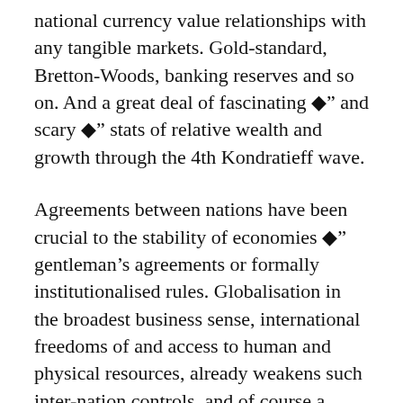national currency value relationships with any tangible markets. Gold-standard, Bretton-Woods, banking reserves and so on. And a great deal of fascinating ◆” and scary ◆” stats of relative wealth and growth through the 4th Kondratieff wave.
Agreements between nations have been crucial to the stability of economies ◆” gentleman’s agreements or formally institutionalised rules. Globalisation in the broadest business sense, international freedoms of and access to human and physical resources, already weakens such inter-nation controls, and of course a globalised network of socially communicating individuals further destroys their power.